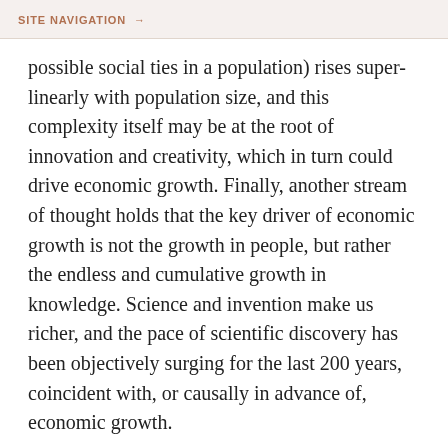SITE NAVIGATION →
possible social ties in a population) rises super-linearly with population size, and this complexity itself may be at the root of innovation and creativity, which in turn could drive economic growth. Finally, another stream of thought holds that the key driver of economic growth is not the growth in people, but rather the endless and cumulative growth in knowledge. Science and invention make us richer, and the pace of scientific discovery has been objectively surging for the last 200 years, coincident with, or causally in advance of, economic growth.
Hence, we should pay attention when science (and, relatedly, science education) becomes a plaything of politicians, or when science comes to be seen like any other interest group (the same as farmers or bankers)